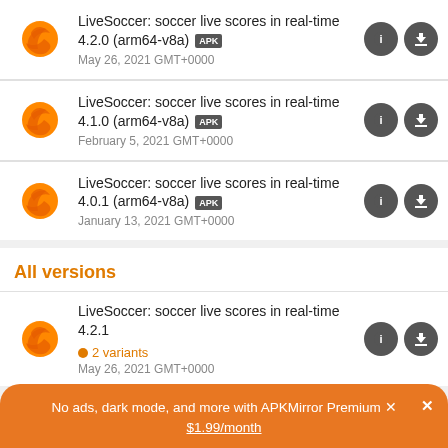LiveSoccer: soccer live scores in real-time 4.2.0 (arm64-v8a) APK
May 26, 2021 GMT+0000
LiveSoccer: soccer live scores in real-time 4.1.0 (arm64-v8a) APK
February 5, 2021 GMT+0000
LiveSoccer: soccer live scores in real-time 4.0.1 (arm64-v8a) APK
January 13, 2021 GMT+0000
All versions
LiveSoccer: soccer live scores in real-time 4.2.1
2 variants
May 26, 2021 GMT+0000
No ads, dark mode, and more with APKMirror Premium ✕
$1.99/month